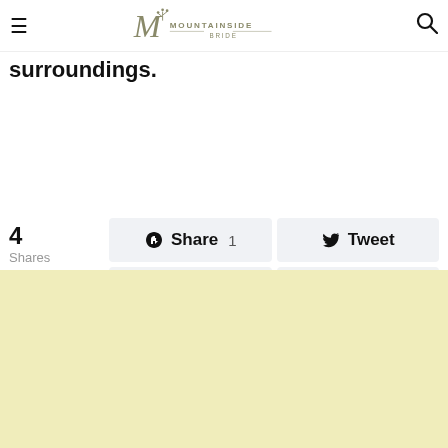Mountainside Bride — navigation header with hamburger menu and search icon
surroundings.
[Figure (infographic): Social sharing buttons: Share (1), Tweet, Pinterest (3), Email. Shows 4 Shares total.]